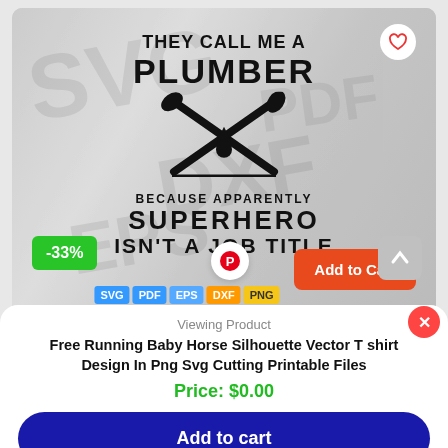[Figure (illustration): T-shirt design featuring text 'THEY CALL ME A PLUMBER BECAUSE APPARENTLY SUPERHERO ISN'T A JOB TITLE' with crossed plumbing wrenches and tools illustration in black on a light gray background. Overlaid with format tags SVG, PDF, EPS, DXF, a -33% discount badge in green, a Pinterest button, and an 'Add to Cart' button in orange-red.]
Viewing Product
Free Running Baby Horse Silhouette Vector T shirt Design In Png Svg Cutting Printable Files
Price: $0.00
Add to cart